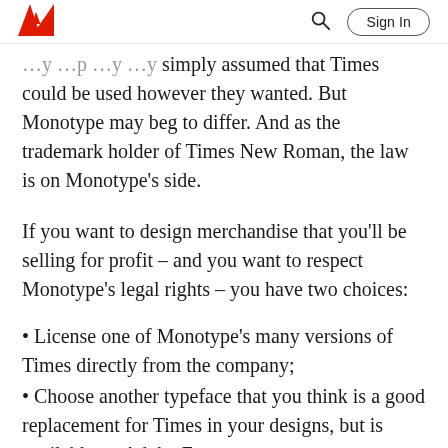Adobe | Sign In
simply assumed that Times could be used however they wanted. But Monotype may beg to differ. And as the trademark holder of Times New Roman, the law is on Monotype’s side.
If you want to design merchandise that you’ll be selling for profit – and you want to respect Monotype’s legal rights – you have two choices:
License one of Monotype’s many versions of Times directly from the company;
Choose another typeface that you think is a good replacement for Times in your designs, but is available on Adobe Fonts